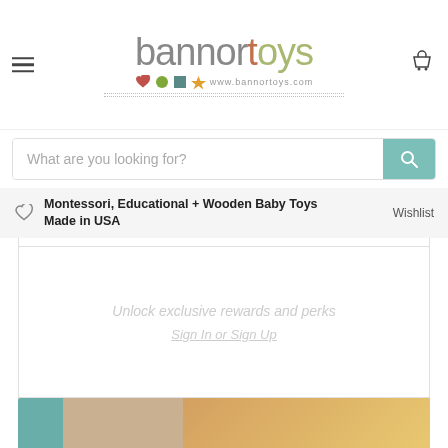[Figure (logo): Bannor Toys logo with text 'bannortoys' and subtitle icons with www.bannortoys.com]
What are you looking for?
Montessori, Educational + Wooden Baby Toys Made in USA
Wishlist
Unlock exclusive rewards and perks
Sign In or Sign Up